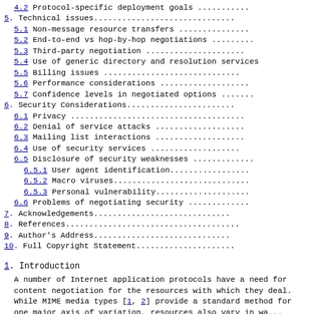4.2 Protocol-specific deployment goals .............
5. Technical issues...............................
5.1 Non-message resource transfers ................
5.2 End-to-end vs hop-by-hop negotiations .........
5.3 Third-party negotiation .......................
5.4 Use of generic directory and resolution services
5.5 Billing issues ................................
5.6 Performance considerations ....................
5.7 Confidence levels in negotiated options .......
6. Security Considerations........................
6.1 Privacy .......................................
6.2 Denial of service attacks .....................
6.3 Mailing list interactions .....................
6.4 Use of security services ......................
6.5 Disclosure of security weaknesses .............
6.5.1 User agent identification...................
6.5.2 Macro viruses...............................
6.5.3 Personal vulnerability......................
6.6 Problems of negotiating security ..............
7. Acknowledgements...............................
8. References.....................................
9. Author's Address...............................
10. Full Copyright Statement......................
1. Introduction
A number of Internet application protocols have a need for content negotiation for the resources with which they deal. While MIME media types [1, 2] provide a standard method for one major axis of variation, resources also vary in ways that are not expressible with MIME types.